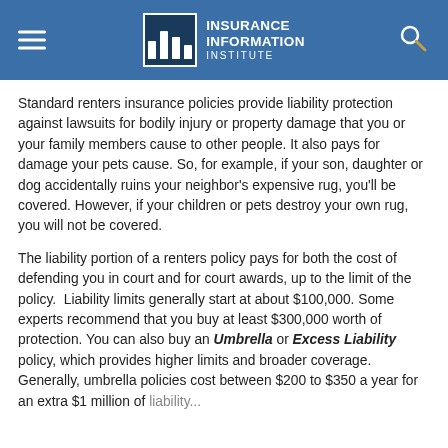Insurance Information Institute
Standard renters insurance policies provide liability protection against lawsuits for bodily injury or property damage that you or your family members cause to other people. It also pays for damage your pets cause. So, for example, if your son, daughter or dog accidentally ruins your neighbor’s expensive rug, you’ll be covered. However, if your children or pets destroy your own rug, you will not be covered.
The liability portion of a renters policy pays for both the cost of defending you in court and for court awards, up to the limit of the policy. Liability limits generally start at about $100,000. Some experts recommend that you buy at least $300,000 worth of protection. You can also buy an Umbrella or Excess Liability policy, which provides higher limits and broader coverage. Generally, umbrella policies cost between $200 to $350 a year for an extra $1 million of liability protection.